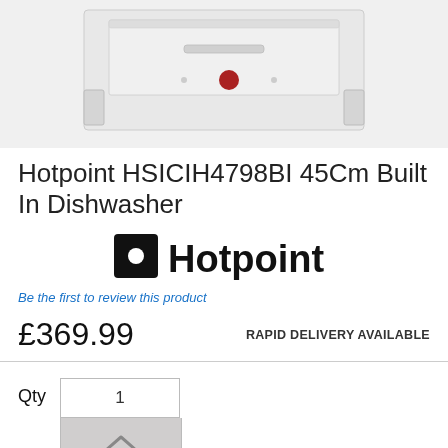[Figure (photo): Bottom view of a white Hotpoint built-in dishwasher showing the underside/drawer mechanism]
Hotpoint HSICIH4798BI 45Cm Built In Dishwasher
[Figure (logo): Hotpoint brand logo — black square with white dot followed by 'Hotpoint' in bold black text]
Be the first to review this product
£369.99
RAPID DELIVERY AVAILABLE
Qty  1
ADD TO WISH LIST